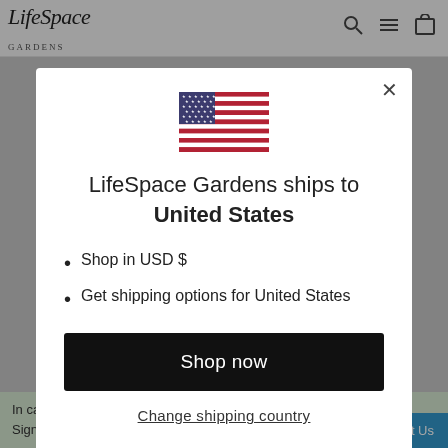LifeSpace Gardens
[Figure (illustration): US flag SVG inline illustration inside modal dialog]
LifeSpace Gardens ships to United States
Shop in USD $
Get shipping options for United States
Shop now
Change shipping country
In case the map is not owned by... Sign-Up for the service and clai...